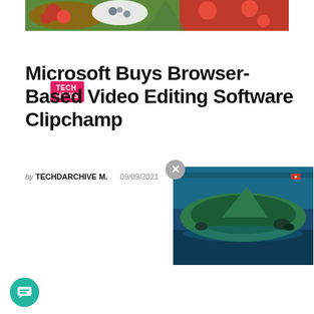[Figure (photo): Banner photo of food items including tomatoes, vegetables, and a bowl, displayed at the top of the page]
TECH NEWS
Microsoft Buys Browser-Based Video Editing Software Clipchamp
by TECHDARCHIVE M.   09/09/2021
[Figure (photo): Aerial view of a rocky island surrounded by blue ocean water, shown in a popup video overlay]
[Figure (photo): Purple promotional banner for Microsoft and Clipchamp partnership with Microsoft logo and Clipchamp wordmark]